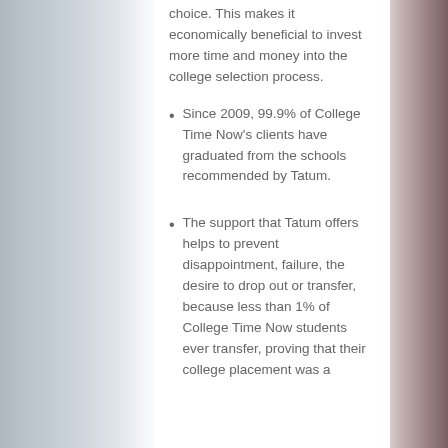choice. This makes it economically beneficial to invest more time and money into the college selection process.
Since 2009, 99.9% of College Time Now's clients have graduated from the schools recommended by Tatum.
The support that Tatum offers helps to prevent disappointment, failure, the desire to drop out or transfer, because less than 1% of College Time Now students ever transfer, proving that their college placement was a